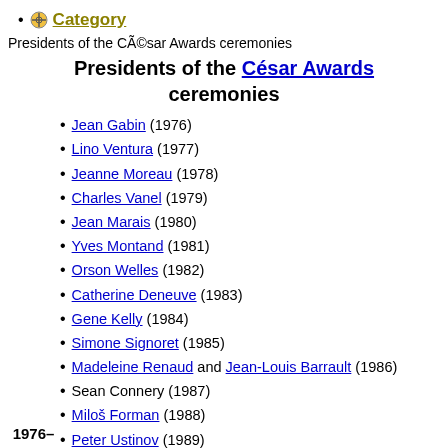Category
Presidents of the César Awards ceremonies
Presidents of the César Awards ceremonies
Jean Gabin (1976)
Lino Ventura (1977)
Jeanne Moreau (1978)
Charles Vanel (1979)
Jean Marais (1980)
Yves Montand (1981)
Orson Welles (1982)
Catherine Deneuve (1983)
Gene Kelly (1984)
Simone Signoret (1985)
Madeleine Renaud and Jean-Louis Barrault (1986)
Sean Connery (1987)
Miloš Forman (1988)
Peter Ustinov (1989)
Kirk Douglas (1990)
Sophia Loren (1991)
Michèle Morgan (1992)
Marcello Mastroianni (1993)